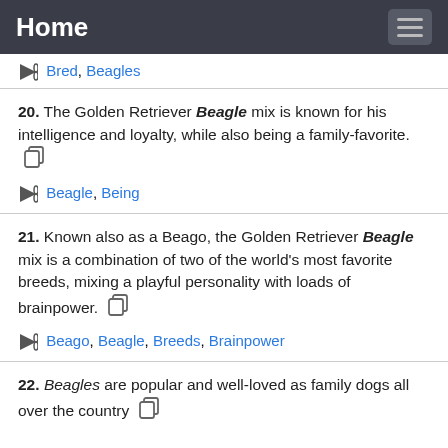Home
Bred, Beagles
20. The Golden Retriever Beagle mix is known for his intelligence and loyalty, while also being a family-favorite.
Beagle, Being
21. Known also as a Beago, the Golden Retriever Beagle mix is a combination of two of the world's most favorite breeds, mixing a playful personality with loads of brainpower.
Beago, Beagle, Breeds, Brainpower
22. Beagles are popular and well-loved as family dogs all over the country